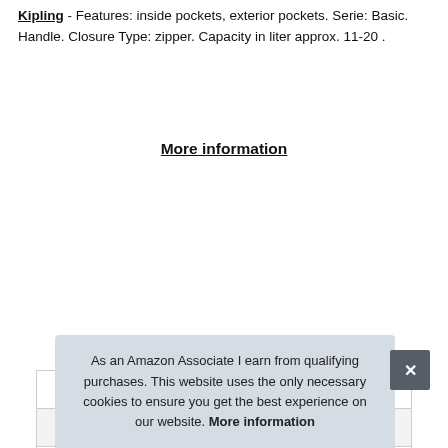Kipling - Features: inside pockets, exterior pockets. Serie: Basic. Handle. Closure Type: zipper. Capacity in liter approx. 11-20 .
More information
|  |  |
| --- | --- |
| Brand | Kipling |
| Manufacturer | Kipling |
| Height | 37 cm (14.57 Inches) |
| Length | 19.5 cm (7.68 Inches) |
| Weight | 0.54 kg (1.19 Pounds) |
| P |  |
As an Amazon Associate I earn from qualifying purchases. This website uses the only necessary cookies to ensure you get the best experience on our website. More information